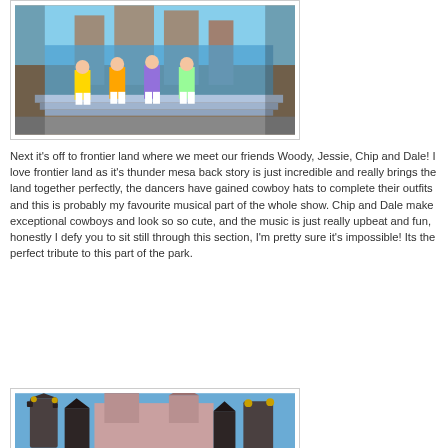[Figure (photo): Performers in colorful costumes dancing in front of a large castle structure at what appears to be Disneyland. Performers are wearing yellow and purple outfits on a blue-lit stage backdrop.]
Next it's off to frontier land where we meet our friends Woody, Jessie, Chip and Dale! I love frontier land as it's thunder mesa back story is just incredible and really brings the land together perfectly, the dancers have gained cowboy hats to complete their outfits and this is probably my favourite musical part of the whole show. Chip and Dale make exceptional cowboys and look so so cute, and the music is just really upbeat and fun, honestly I defy you to sit still through this section, I'm pretty sure it's impossible! Its the perfect tribute to this part of the park.
[Figure (photo): View of fantasy-style castle towers and spires with ornate dark rooftops against a blue sky, appearing to be from Disneyland's Fantasyland area.]